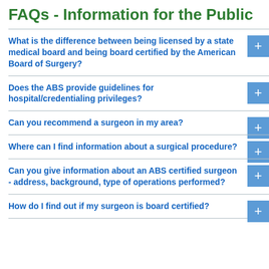FAQs - Information for the Public
What is the difference between being licensed by a state medical board and being board certified by the American Board of Surgery?
Does the ABS provide guidelines for hospital/credentialing privileges?
Can you recommend a surgeon in my area?
Where can I find information about a surgical procedure?
Can you give information about an ABS certified surgeon - address, background, type of operations performed?
How do I find out if my surgeon is board certified?